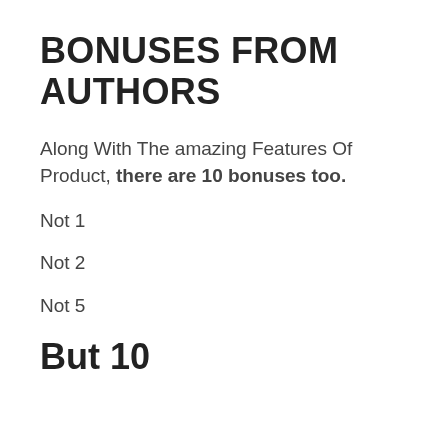BONUSES FROM AUTHORS
Along With The amazing Features Of Product, there are 10 bonuses too.
Not 1
Not 2
Not 5
But 10